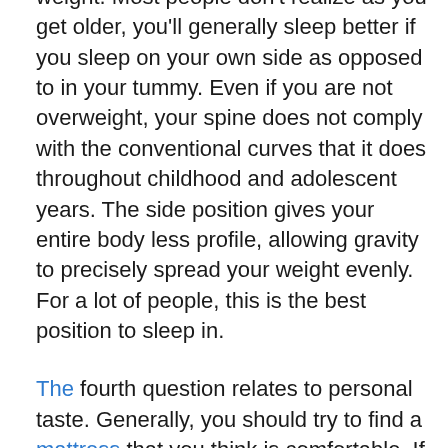weight. Most people don't realize as you get older, you'll generally sleep better if you sleep on your own side as opposed to in your tummy. Even if you are not overweight, your spine does not comply with the conventional curves that it does throughout childhood and adolescent years. The side position gives your entire body less profile, allowing gravity to precisely spread your weight evenly. For a lot of people, this is the best position to sleep in.
The fourth question relates to personal taste. Generally, you should try to find a mattress that you think is comfortable. If it's not, then it probably isn't meant for you personally. If you are unsure what type of mattress you want, see a store that sells beds and then